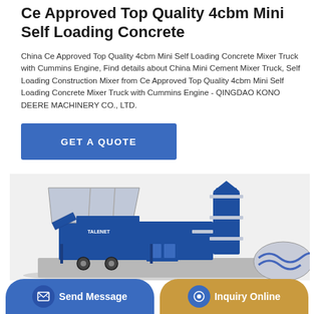Ce Approved Top Quality 4cbm Mini Self Loading Concrete
China Ce Approved Top Quality 4cbm Mini Self Loading Concrete Mixer Truck with Cummins Engine, Find details about China Mini Cement Mixer Truck, Self Loading Construction Mixer from Ce Approved Top Quality 4cbm Mini Self Loading Concrete Mixer Truck with Cummins Engine - QINGDAO KONO DEERE MACHINERY CO., LTD.
[Figure (other): Blue 'GET A QUOTE' button]
[Figure (photo): Blue concrete mixer plant/batching plant on wheels with TALENET branding, shown as 3D render on grey surface, with a concrete mixer drum visible to the right]
[Figure (other): Bottom navigation bar with 'Send Message' button (blue) and 'Inquiry Online' button (tan/gold)]